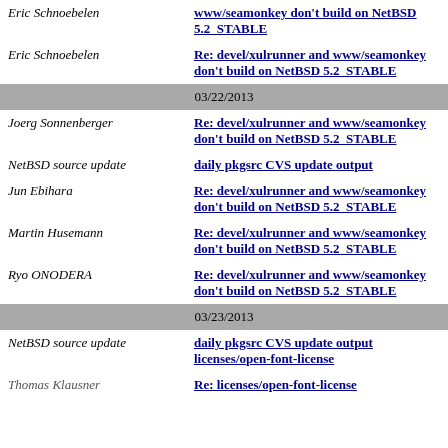| Author | Subject |
| --- | --- |
| Eric Schnoebelen | www/seamonkey don't build on NetBSD 5.2_STABLE |
| Eric Schnoebelen | Re: devel/xulrunner and www/seamonkey don't build on NetBSD 5.2_STABLE |
| 03/22/2013 |  |
| Joerg Sonnenberger | Re: devel/xulrunner and www/seamonkey don't build on NetBSD 5.2_STABLE |
| NetBSD source update | daily pkgsrc CVS update output |
| Jun Ebihara | Re: devel/xulrunner and www/seamonkey don't build on NetBSD 5.2_STABLE |
| Martin Husemann | Re: devel/xulrunner and www/seamonkey don't build on NetBSD 5.2_STABLE |
| Ryo ONODERA | Re: devel/xulrunner and www/seamonkey don't build on NetBSD 5.2_STABLE |
| 03/23/2013 |  |
| NetBSD source update | daily pkgsrc CVS update output
licenses/open-font-license |
| Thomas Klausner | Re: licenses/open-font-license |